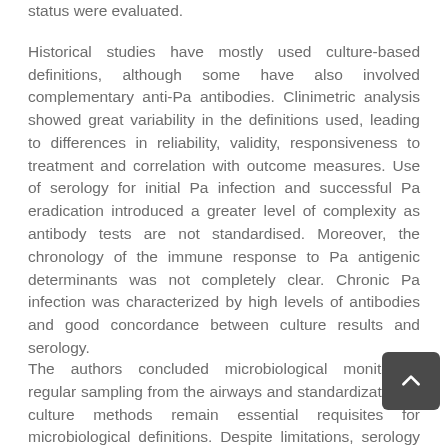status were evaluated. Historical studies have mostly used culture-based definitions, although some have also involved complementary anti-Pa antibodies. Clinimetric analysis showed great variability in the definitions used, leading to differences in reliability, validity, responsiveness to treatment and correlation with outcome measures. Use of serology for initial Pa infection and successful Pa eradication introduced a greater level of complexity as antibody tests are not standardised. Moreover, the chronology of the immune response to Pa antigenic determinants was not completely clear. Chronic Pa infection was characterized by high levels of antibodies and good concordance between culture results and serology.
The authors concluded microbiological monitoring, regular sampling from the airways and standardization of culture methods remain essential requisites for microbiological definitions. Despite limitations, serology should be incorporated in the definitions of initial infection and eradication used in clinical trials to better classify patients at